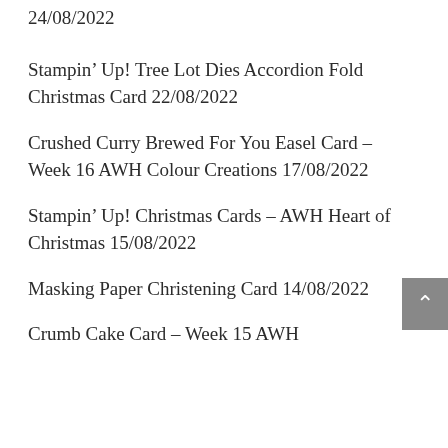24/08/2022
Stampin’ Up! Tree Lot Dies Accordion Fold Christmas Card 22/08/2022
Crushed Curry Brewed For You Easel Card – Week 16 AWH Colour Creations 17/08/2022
Stampin’ Up! Christmas Cards – AWH Heart of Christmas 15/08/2022
Masking Paper Christening Card 14/08/2022
Crumb Cake Card – Week 15 AWH